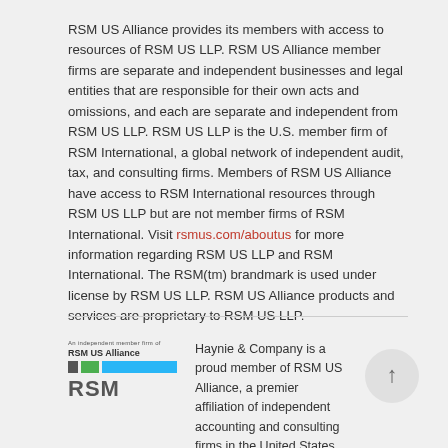RSM US Alliance provides its members with access to resources of RSM US LLP. RSM US Alliance member firms are separate and independent businesses and legal entities that are responsible for their own acts and omissions, and each are separate and independent from RSM US LLP. RSM US LLP is the U.S. member firm of RSM International, a global network of independent audit, tax, and consulting firms. Members of RSM US Alliance have access to RSM International resources through RSM US LLP but are not member firms of RSM International. Visit rsmus.com/aboutus for more information regarding RSM US LLP and RSM International. The RSM(tm) brandmark is used under license by RSM US LLP. RSM US Alliance products and services are proprietary to RSM US LLP.
[Figure (logo): RSM US Alliance logo with colored bars and RSM text]
Haynie & Company is a proud member of RSM US Alliance, a premier affiliation of independent accounting and consulting firms in the United States. RSM US Alliance provides our firm with access to resources of RSM US LLP, the...